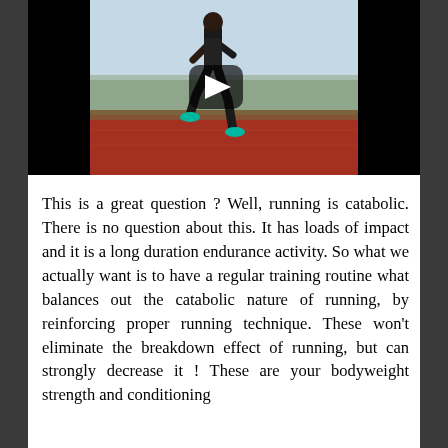[Figure (photo): Video thumbnail showing an athlete running on a red track, with a play button overlay. The background is black on the sides. The runner is mid-stride wearing bright teal/green shoes.]
This is a great question ? Well, running is catabolic. There is no question about this. It has loads of impact and it is a long duration endurance activity. So what we actually want is to have a regular training routine what balances out the catabolic nature of running, by reinforcing proper running technique. These won't eliminate the breakdown effect of running, but can strongly decrease it ! These are your bodyweight strength and conditioning